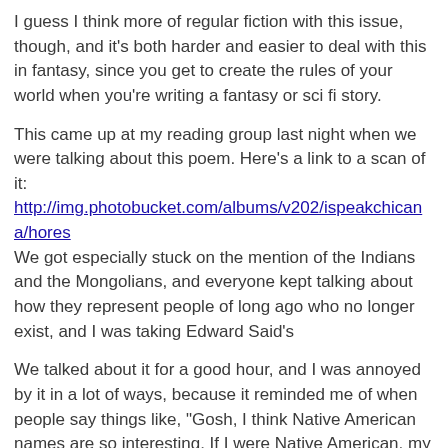I guess I think more of regular fiction with this issue, though, and it's both harder and easier to deal with this in fantasy, since you get to create the rules of your world when you're writing a fantasy or sci fi story.
This came up at my reading group last night when we were talking about this poem. Here's a link to a scan of it: http://img.photobucket.com/albums/v202/ispeakchicana/hores We got especially stuck on the mention of the Indians and the Mongolians, and everyone kept talking about how they represent people of long ago who no longer exist, and I was taking Edward Said's
We talked about it for a good hour, and I was annoyed by it in a lot of ways, because it reminded me of when people say things like, "Gosh, I think Native American names are so interesting. If I were Native American, my name would be Girl Who Runs Like the Wind With the Sun in Her Hair." It's like people pretend to be interested and sensitive to other cultures, but they don't even understand how to name the culture correctly, dont' realize that the "culture" is actually many cultures that you shouldn't lump together, and they